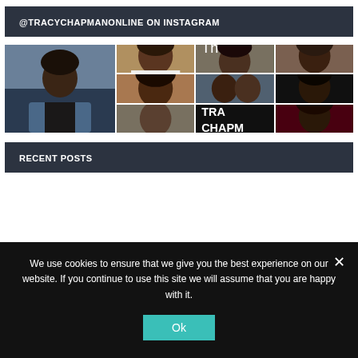@TRACYCHAPMANONLINE ON INSTAGRAM
[Figure (photo): Instagram photo grid showing multiple portraits of Tracy Chapman and related artists. Large photo on left shows a young person in denim jacket. Right side shows a 3x3 grid of smaller photos including smiling portraits, group shots, and album/concert imagery.]
RECENT POSTS
We use cookies to ensure that we give you the best experience on our website. If you continue to use this site we will assume that you are happy with it.